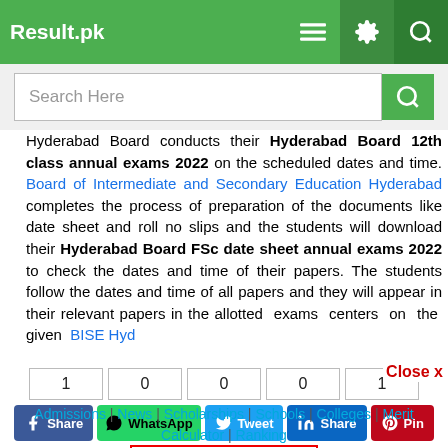Result.pk
Search Here
Hyderabad Board conducts their Hyderabad Board 12th class annual exams 2022 on the scheduled dates and time. Board of Intermediate and Secondary Education Hyderabad completes the process of preparation of the documents like date sheet and roll no slips and the students will download their Hyderabad Board FSc date sheet annual exams 2022 to check the dates and time of their papers. The students follow the dates and time of all papers and they will appear in their relevant papers in the allotted exams centers on the given BISE Hyd...
Close x
1 | 0 | 0 | 0 | 1 — Share counts: Facebook: 1, WhatsApp: 0, Tweet: 0, LinkedIn Share: 0, Pinterest Pin: 1
Admissions | News | Scholarships | Schools | Colleges | Merit Calculator | Ranking